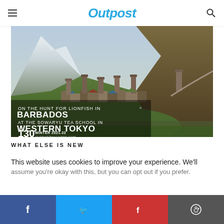Outpost
[Figure (photo): Magazine cover for Outpost issue 130, Winter 2021-22. Shows a mountain village with medieval stone towers in a valley with snow-capped peaks. Text overlays read: ON THE HUNT FOR LIONFISH IN BARBADOS, AT THE SOWARYU TEA SCHOOL IN WESTERN TOKYO, 130 WINTER 2021-22, OUTPOSTMAGAZINE.COM]
WHAT ELSE IS NEW
This website uses cookies to improve your experience. We'll assume you're okay with this, but you can opt out if you prefer.